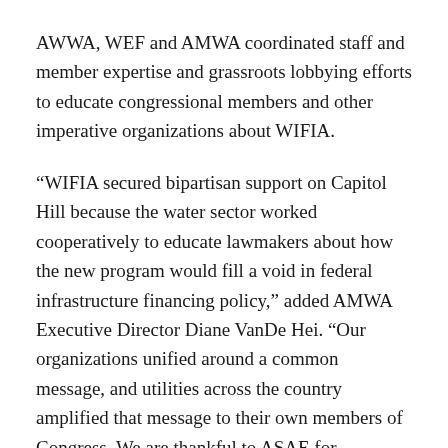AWWA, WEF and AMWA coordinated staff and member expertise and grassroots lobbying efforts to educate congressional members and other imperative organizations about WIFIA.
“WIFIA secured bipartisan support on Capitol Hill because the water sector worked cooperatively to educate lawmakers about how the new program would fill a void in federal infrastructure financing policy,” added AMWA Executive Director Diane VanDe Hei. “Our organizations unified around a common message, and utilities across the country amplified that message to their own members of Congress. We are thankful to ASAE for recognizing the hard work that went into this effort.”
Save the trees for beavers, sign up for our E-Newsletter!